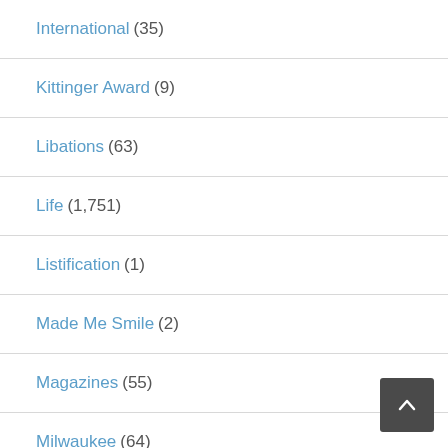International (35)
Kittinger Award (9)
Libations (63)
Life (1,751)
Listification (1)
Made Me Smile (2)
Magazines (55)
Milwaukee (64)
Miscellany (23)
Missouri (89)